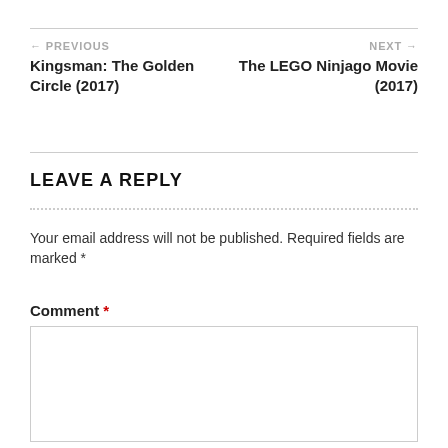← PREVIOUS
Kingsman: The Golden Circle (2017)
NEXT →
The LEGO Ninjago Movie (2017)
LEAVE A REPLY
Your email address will not be published. Required fields are marked *
Comment *